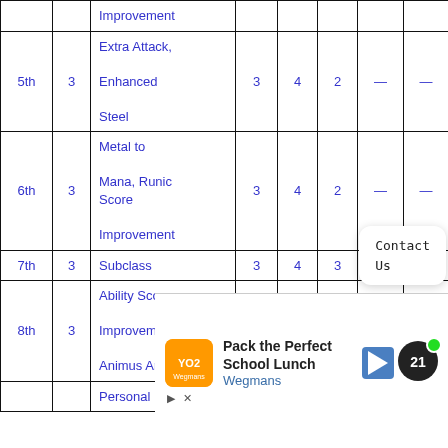| Level | Prof. Bonus | Features | Cantrips Known | 1st | 2nd | 3rd | 4th |
| --- | --- | --- | --- | --- | --- | --- | --- |
|  |  | Improvement |  |  |  |  |  |
| 5th | 3 | Extra Attack, Enhanced Steel | 3 | 4 | 2 | — | — |
| 6th | 3 | Metal to Mana, Runic Score Improvement | 3 | 4 | 2 | — | — |
| 7th | 3 | Subclass | 3 | 4 | 3 | — | — |
| 8th | 3 | Ability Score Improvement, Animus Armis | 3 | 4 | 3 | — | — |
|  |  | Personal |  |  |  |  |  |
[Figure (infographic): Advertisement banner for Wegmans school lunch, with navigation and TV app icons]